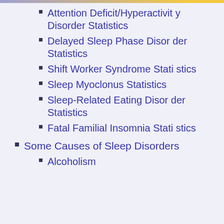Attention Deficit/Hyperactivity Disorder Statistics
Delayed Sleep Phase Disorder Statistics
Shift Worker Syndrome Statistics
Sleep Myoclonus Statistics
Sleep-Related Eating Disorder Statistics
Fatal Familial Insomnia Statistics
Some Causes of Sleep Disorders
Alcoholism